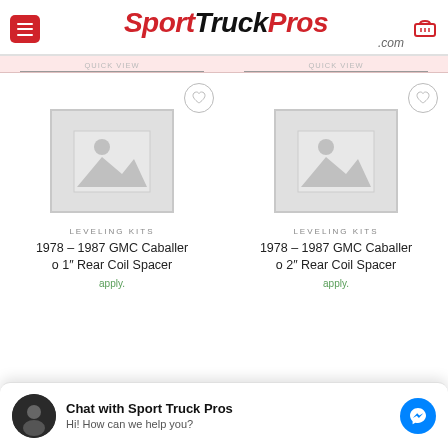SportTruckPros.com
[Figure (screenshot): Placeholder product image for 1978-1987 GMC Caballero 1" Rear Coil Spacer]
LEVELING KITS
1978 – 1987 GMC Caballero 1″ Rear Coil Spacer
[Figure (screenshot): Placeholder product image for 1978-1987 GMC Caballero 2" Rear Coil Spacer]
LEVELING KITS
1978 – 1987 GMC Caballero 2″ Rear Coil Spacer
Chat with Sport Truck Pros
Hi! How can we help you?